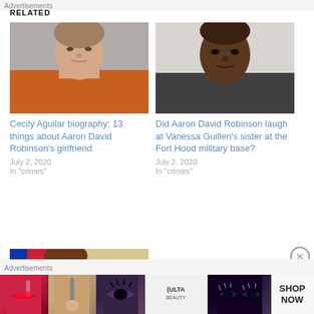RELATED
[Figure (photo): Mugshot of a woman in an orange jumpsuit]
Cecily Aguilar biography: 13 things about Aaron David Robinson's girlfriend
July 2, 2020
In "crimes"
[Figure (photo): Black and white mugshot of a man]
Did Aaron David Robinson laugh at Vanessa Guillen's sister at the Fort Hood military base?
July 2, 2020
In "crimes"
[Figure (photo): Photo of a young female soldier with American flag in background]
Advertisements
[Figure (photo): Ulta Beauty advertisement banner with makeup imagery]